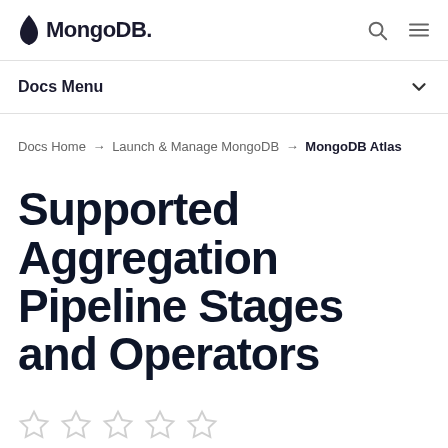MongoDB
Docs Menu
Docs Home → Launch & Manage MongoDB → MongoDB Atlas
Supported Aggregation Pipeline Stages and Operators